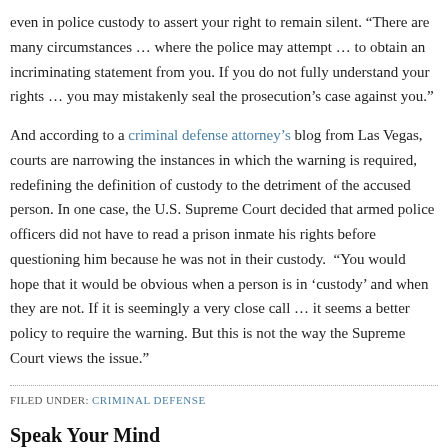even in police custody to assert your right to remain silent. “There are many circumstances … where the police may attempt … to obtain an incriminating statement from you. If you do not fully understand your rights … you may mistakenly seal the prosecution’s case against you.”
And according to a criminal defense attorney’s blog from Las Vegas, courts are narrowing the instances in which the warning is required, redefining the definition of custody to the detriment of the accused person. In one case, the U.S. Supreme Court decided that armed police officers did not have to read a prison inmate his rights before questioning him because he was not in their custody. “You would hope that it would be obvious when a person is in ‘custody’ and when they are not. If it is seemingly a very close call … it seems a better policy to require the warning. But this is not the way the Supreme Court views the issue.”
FILED UNDER: CRIMINAL DEFENSE
Speak Your Mind